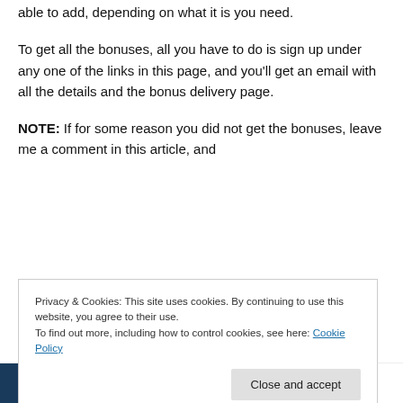able to add, depending on what it is you need.
To get all the bonuses, all you have to do is sign up under any one of the links in this page, and you'll get an email with all the details and the bonus delivery page.
NOTE: If for some reason you did not get the bonuses, leave me a comment in this article, and
Privacy & Cookies: This site uses cookies. By continuing to use this website, you agree to their use.
To find out more, including how to control cookies, see here: Cookie Policy
Close and accept
$1000 PER MONTH ONLINE
super powerful A2Z high authority domain, to snatch